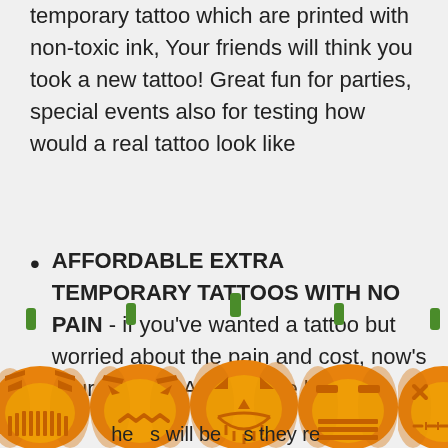temporary tattoo which are printed with non-toxic ink, Your friends will think you took a new tattoo! Great fun for parties, special events also for testing how would a real tattoo look like
AFFORDABLE EXTRA TEMPORARY TATTOOS WITH NO PAIN - if you've wanted a tattoo but worried about the pain and cost, now's your chance! Apply these body [partially obscured]
[Figure (illustration): Row of five carved Halloween jack-o-lantern pumpkins in orange with green stems, partially obscuring the text below. Each pumpkin has a different carved face expression.]